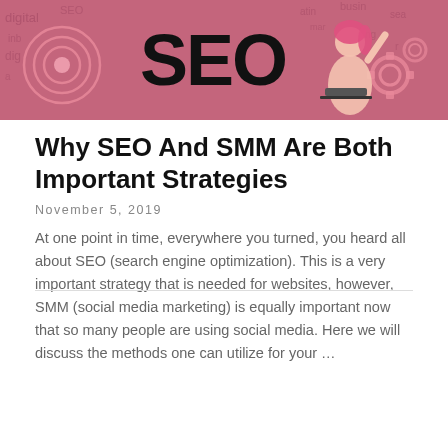[Figure (illustration): SEO banner image with pink/mauve background. Large text 'SEO' in the center, with digital marketing related words in the background, a target/bullseye icon on the left, gear icons on the right, and a cartoon woman with pink hair sitting at a laptop on the right side.]
Why SEO And SMM Are Both Important Strategies
November 5, 2019
At one point in time, everywhere you turned, you heard all about SEO (search engine optimization). This is a very important strategy that is needed for websites, however, SMM (social media marketing) is equally important now that so many people are using social media. Here we will discuss the methods one can utilize for your …